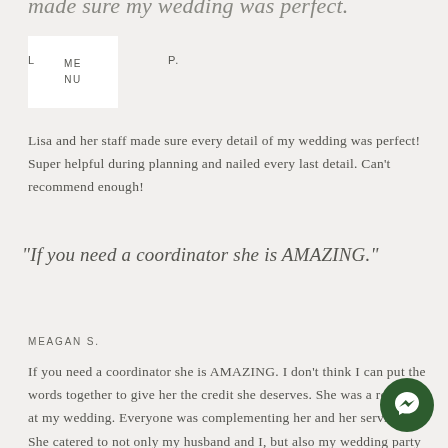made sure my wedding was perfect.
[Figure (logo): White box with MENU text]
L    P.
Lisa and her staff made sure every detail of my wedding was perfect! Super helpful during planning and nailed every last detail. Can't recommend enough!
"If you need a coordinator she is AMAZING."
MEAGAN S.
If you need a coordinator she is AMAZING. I don't think I can put the words together to give her the credit she deserves. She was a rockstar at my wedding. Everyone was complementing her and her service. She catered to not only my husband and I, but also my wedding party and I almost thought I could do it without a coordinator but after seeing her work, her magic I know my event would not